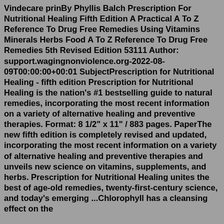Vindecare prinBy Phyllis Balch Prescription For Nutritional Healing Fifth Edition A Practical A To Z Reference To Drug Free Remedies Using Vitamins Minerals Herbs Food A To Z Reference To Drug Free Remedies 5th Revised Edition 53111 Author: support.wagingnonviolence.org-2022-08-09T00:00:00+00:01 SubjectPrescription for Nutritional Healing - fifth edition Prescription for Nutritional Healing is the nation's #1 bestselling guide to natural remedies, incorporating the most recent information on a variety of alternative healing and preventive therapies. Format: 8 1/2" x 11" / 883 pages. PaperThe new fifth edition is completely revised and updated, incorporating the most recent information on a variety of alternative healing and preventive therapies and unveils new science on vitamins, supplements, and herbs. Prescription for Nutritional Healing unites the best of age-old remedies, twenty-first-century science, and today's emerging ...Chlorophyll has a cleansing effect on the